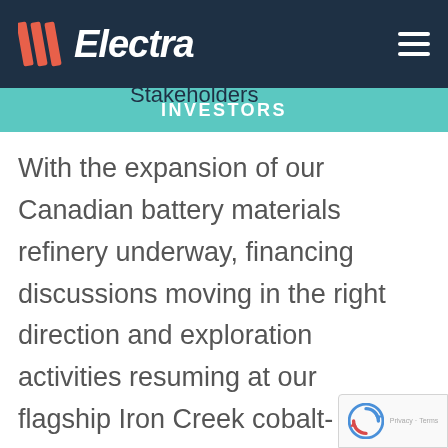[Figure (logo): Electra company logo with orange diagonal stripes and white italic text 'Electra' on dark navy background, with hamburger menu icon top right]
Dear Shareholders and Stakeholders
INVESTORS
With the expansion of our Canadian battery materials refinery underway, financing discussions moving in the right direction and exploration activities resuming at our flagship Iron Creek cobalt-copper project, we can now allow ourselves to start articulating a longer term strategy